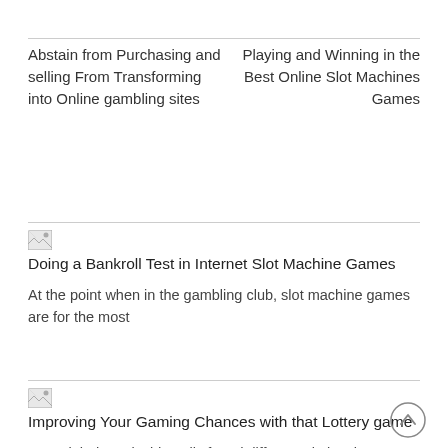Abstain from Purchasing and selling From Transforming into Online gambling sites
Playing and Winning in the Best Online Slot Machines Games
[Figure (illustration): Broken image icon placeholder]
Doing a Bankroll Test in Internet Slot Machine Games
At the point when in the gambling club, slot machine games are for the most
[Figure (illustration): Broken image icon placeholder]
Improving Your Gaming Chances with that Lottery game
You might have incidentally found different obviously guaranteed lottery stunts. Expecting you were tricked that